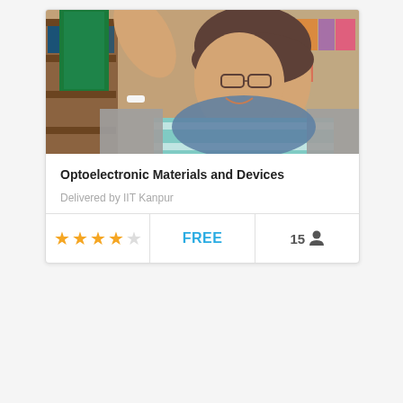[Figure (photo): A smiling young woman with glasses reaching for a book on a library shelf, wearing a striped top and blue scarf]
Optoelectronic Materials and Devices
Delivered by IIT Kanpur
★★★★☆  FREE  15 👤